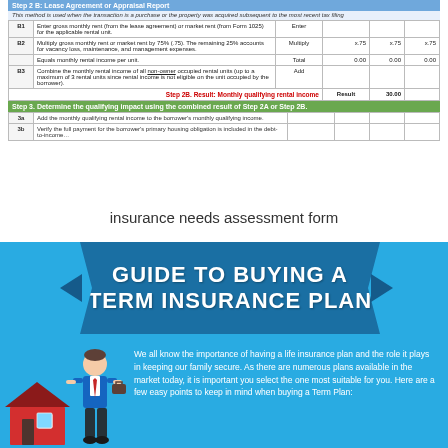[Figure (screenshot): Partial screenshot of a mortgage rental income form showing Steps 2B and 3. Contains a form table with rows B1, B2, B3 for calculating monthly qualifying rental income, a green bar for Step 3, and partially visible rows below. Table includes columns for instructions, action (Enter/Multiply/Total/Add/Result), and numeric columns showing values like x.75 and 0.00.]
insurance needs assessment form
[Figure (infographic): Guide to Buying a Term Insurance Plan infographic. Blue background with a dark blue ribbon banner showing the title. Left side shows a cartoon man in a suit standing next to a house. Right side shows introductory text about the importance of life insurance.]
We all know the importance of having a life insurance plan and the role it plays in keeping our family secure. As there are numerous plans available in the market today, it is important you select the one most suitable for you. Here are a few easy points to keep in mind when buying a Term Plan: